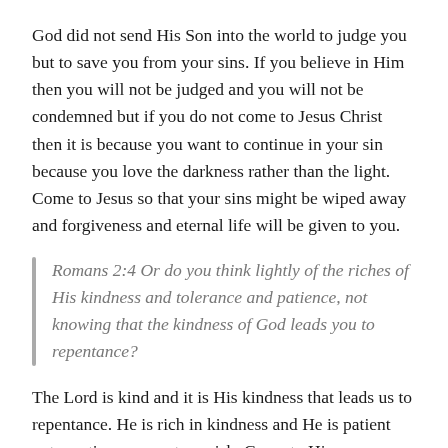God did not send His Son into the world to judge you but to save you from your sins. If you believe in Him then you will not be judged and you will not be condemned but if you do not come to Jesus Christ then it is because you want to continue in your sin because you love the darkness rather than the light. Come to Jesus so that your sins might be wiped away and forgiveness and eternal life will be given to you.
Romans 2:4 Or do you think lightly of the riches of His kindness and tolerance and patience, not knowing that the kindness of God leads you to repentance?
The Lord is kind and it is His kindness that leads us to repentance. He is rich in kindness and He is patient not wanting anyone to perish. Come to Him.